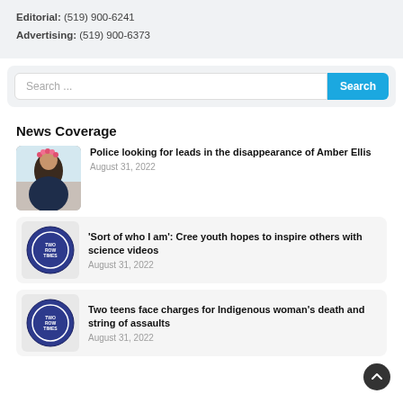Editorial: (519) 900-6241
Advertising: (519) 900-6373
[Figure (screenshot): Search bar with text 'Search ...' and a blue 'Search' button on the right]
News Coverage
[Figure (photo): Photo of a young woman with dark hair and flower crown filter]
Police looking for leads in the disappearance of Amber Ellis
August 31, 2022
[Figure (logo): Two Row Times circular logo in purple]
'Sort of who I am': Cree youth hopes to inspire others with science videos
August 31, 2022
[Figure (logo): Two Row Times circular logo in purple]
Two teens face charges for Indigenous woman's death and string of assaults
August 31, 2022